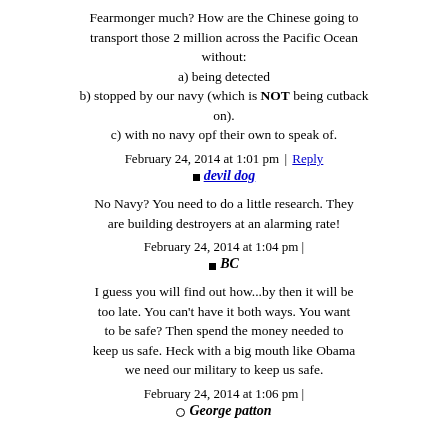Fearmonger much? How are the Chinese going to transport those 2 million across the Pacific Ocean without:
a) being detected
b) stopped by our navy (which is NOT being cutback on).
c) with no navy opf their own to speak of.
February 24, 2014 at 1:01 pm | Reply
devil dog
No Navy? You need to do a little research. They are building destroyers at an alarming rate!
February 24, 2014 at 1:04 pm |
BC
I guess you will find out how...by then it will be too late. You can't have it both ways. You want to be safe? Then spend the money needed to keep us safe. Heck with a big mouth like Obama we need our military to keep us safe.
February 24, 2014 at 1:06 pm |
George patton